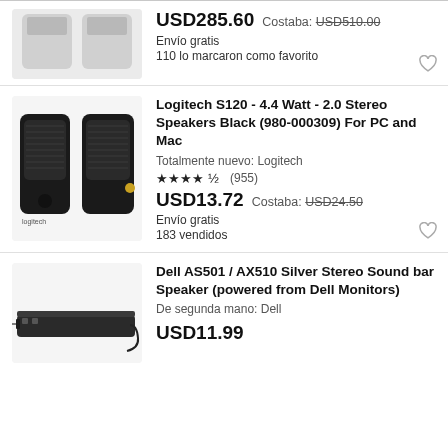[Figure (photo): Partial view of a speaker product (top portion cut off), light gray background]
USD285.60  Costaba: USD510.00
Envío gratis
110 lo marcaron como favorito
[Figure (photo): Logitech S120 two black desktop speakers side by side]
Logitech S120 - 4.4 Watt - 2.0 Stereo Speakers Black (980-000309) For PC and Mac
Totalmente nuevo: Logitech
★★★★½ (955)
USD13.72  Costaba: USD24.50
Envío gratis
183 vendidos
[Figure (photo): Dell AS501/AX510 silver stereo sound bar speaker, a slim horizontal bar]
Dell AS501 / AX510 Silver Stereo Sound bar Speaker (powered from Dell Monitors)
De segunda mano: Dell
USD11.99